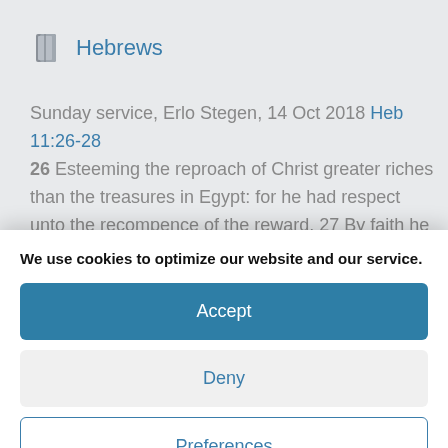Hebrews
Sunday service, Erlo Stegen, 14 Oct 2018 Heb 11:26-28
26 Esteeming the reproach of Christ greater riches than the treasures in Egypt: for he had respect unto the recompence of the reward. 27 By faith he forsook Egypt,
We use cookies to optimize our website and our service.
Accept
Deny
Preferences
Cookie Policy